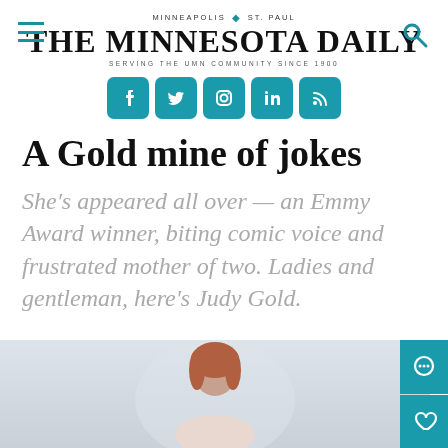MINNEAPOLIS | ST. PAUL — THE MINNESOTA DAILY — SERVING THE UMN COMMUNITY SINCE 1900
[Figure (screenshot): Social media icons: Facebook, Twitter, Instagram, LinkedIn, RSS — teal rounded square buttons]
A Gold mine of jokes
She's appeared all over — an Emmy Award winner, biting comic voice and frustrated mother of two. Ladies and gentleman, here's Judy Gold.
[Figure (photo): Partial photo of a woman with auburn/red hair, bottom portion of page]